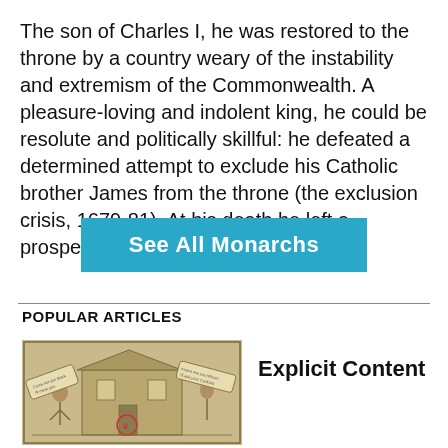The son of Charles I, he was restored to the throne by a country weary of the instability and extremism of the Commonwealth. A pleasure-loving and indolent king, he could be resolute and politically skillful: he defeated a determined attempt to exclude his Catholic brother James from the throne (the exclusion crisis, 1679-81). At his death he left a prosperous and tranquil kingdom.
See All Monarchs
POPULAR ARTICLES
[Figure (illustration): Historical engraving or woodcut illustration showing figures near a building with banners/scrolls containing text]
Explicit Content